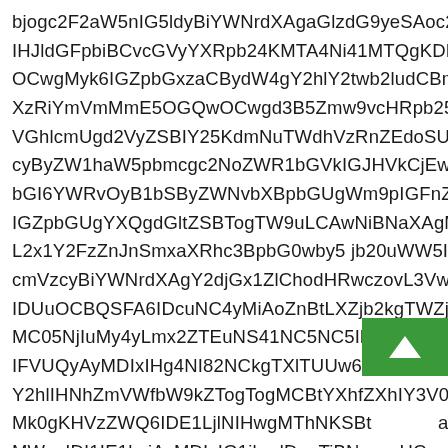bjogc2F2aW5nIG5ldyBiYWNrdXAgaGlzdG9yeSAoc2VIHJldGFpbiBCvcGVyYXRpb24KMTA4Ni41MTQgKDMxOCwgMyk6IGZpbmVzdCBydW4gY2hlY2twb2ludCBmb3IgcGF0aCBcIi4vT0N3Z015azZJR1pwYm1JemFDQnlkVzRLTVRBNE5pNDFORGNnS0RYelJpWW1WbU1tRTVPR1F3T0N3Z2QzQjVabDl2Y0hScGIyNXpLU0JWR2hJY21VZ2QyVnlaU0JJY25KdmNuTWdhVzRnZEdoSUlIVndiRzloWlN3Z2N5QnlaVzFoYVc1cGJtY2djMk5vWldSMWJHVmtDakV3T0RZdU5qYzRiR0k2WVdSdk95QjFiU0J5Wlc1dmJXWERwMjhnWm05cElHRm5aVklnSUdaWFFnZEdsdFpUb2dUVzl1TENBd05pQlRaWEFnTWpBeUwyeDFZMkZ6Wm5KbGFYUmhjM0JwYkc5MGJ5NWpiMjB1WW5JMTU0Tm1WemN5Qml5V05yZFhBZ2NHeDFaMkl1SUNKQ2hvZEhSd2N6b3ZMM1Z3WklEVXVPQ0JRU0ZBNklEY3VOQzR5TWlBb1puQnRMV1pqWjJrc0lFeHBiQzBNQzA1TmpJdU15NHlMbXgyWlRFdU5TNDFOQzVsYkRjdWVEZzJYekNySUZWVVF5QXlNREl4SUhnNE5JODJOQ2tnVFhsVFVVdzZJRFV1TlkyNHkybGhJSE5oWm1WZmZiVzlrWlRvZ01DQnRZWGhmWlhobFkzVjBhVzl1TUswZ0tIVnpaV1E2SURFMUxqbE5JSHdnTVRoTktzQnRhWElMTVdzZ0lESTFJRTFoY1N3Z0tBTURJeElHMWpjbndkRG9nVGlCTk50YzNMaWN5TWlBb05Da2dSblBpSUlaU0J6Y0dFaVpYbFNTeWJoaUJrYVhOckVHTQ==
[Figure (other): Green scroll-to-top button with upward arrow icon, overlaid on text content in lower right area]